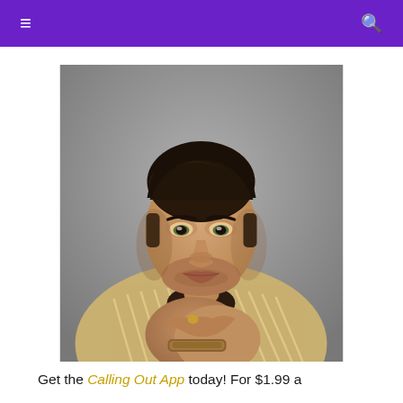≡  🔍
[Figure (photo): Color portrait photograph of a young Elvis Presley in a striped jacket with hands clasped near his face, wearing a bracelet and ring, looking at camera against a grey background.]
Get the Calling Out App today! For $1.99 a